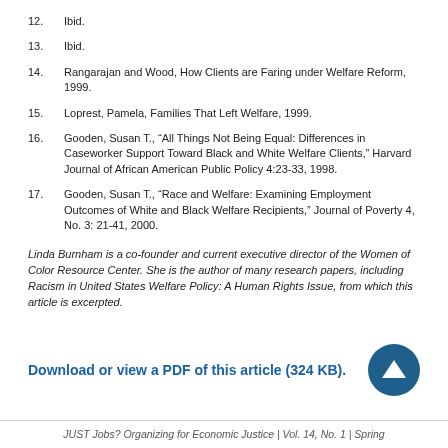12.   Ibid.
13.   Ibid.
14.   Rangarajan and Wood, How Clients are Faring under Welfare Reform, 1999.
15.   Loprest, Pamela, Families That Left Welfare, 1999.
16.   Gooden, Susan T., “All Things Not Being Equal: Differences in Caseworker Support Toward Black and White Welfare Clients,” Harvard Journal of African American Public Policy 4:23-33, 1998.
17.   Gooden, Susan T., “Race and Welfare: Examining Employment Outcomes of White and Black Welfare Recipients,” Journal of Poverty 4, No. 3: 21-41, 2000.
Linda Burnham is a co-founder and current executive director of the Women of Color Resource Center. She is the author of many research papers, including Racism in United States Welfare Policy: A Human Rights Issue, from which this article is excerpted.
Download or view a PDF of this article (324 KB).
JUST Jobs? Organizing for Economic Justice | Vol. 14, No. 1 | Spring...